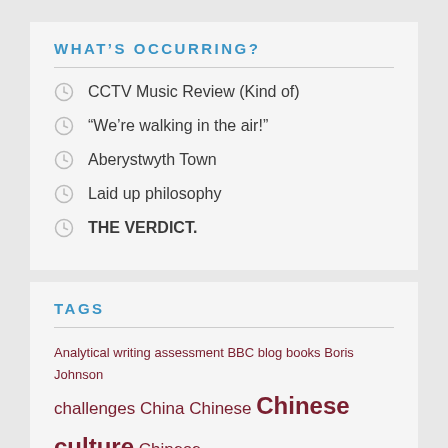WHAT'S OCCURRING?
CCTV Music Review (Kind of)
“We’re walking in the air!”
Aberystwyth Town
Laid up philosophy
THE VERDICT.
TAGS
Analytical writing assessment BBC blog books Boris Johnson challenges China Chinese Chinese culture Chinese history classroom conservation Coronavirus